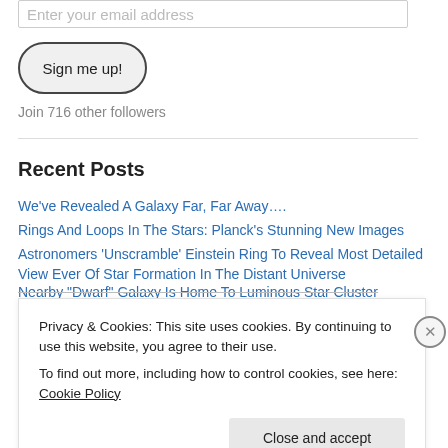Enter your email address
Sign me up!
Join 716 other followers
Recent Posts
We've Revealed A Galaxy Far, Far Away….
Rings And Loops In The Stars: Planck's Stunning New Images
Astronomers 'Unscramble' Einstein Ring To Reveal Most Detailed View Ever Of Star Formation In The Distant Universe
Nearby "Dwarf" Galaxy Is Home To Luminous Star Cluster
Privacy & Cookies: This site uses cookies. By continuing to use this website, you agree to their use. To find out more, including how to control cookies, see here: Cookie Policy
Close and accept